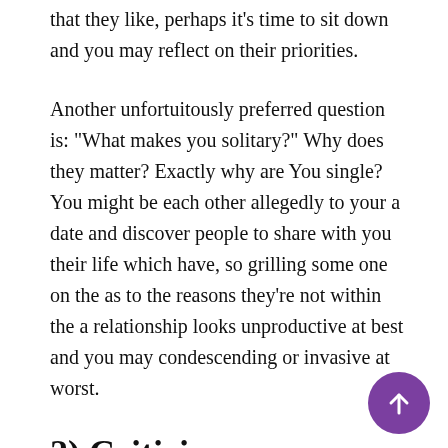that they like, perhaps it's time to sit down and you may reflect on their priorities.
Another unfortuitously preferred question is: "What makes you solitary?" Why does they matter? Exactly why are You single? You might be each other allegedly to your a date and discover people to share with you their life which have, so grilling some one on the as to the reasons they're not within the a relationship looks unproductive at best and you may condescending or invasive at worst.
2) Criticism
This should go without claiming, but never feel impolite towards date. Both rudeness exhibits itself during the visible implies, instance downright criticizing additional individuals physical appearance. Yet not, disrespect can often be simple as well the surface, sincere. You should never render unsolicited pointers particularly "In my opinion you need to … more" or display